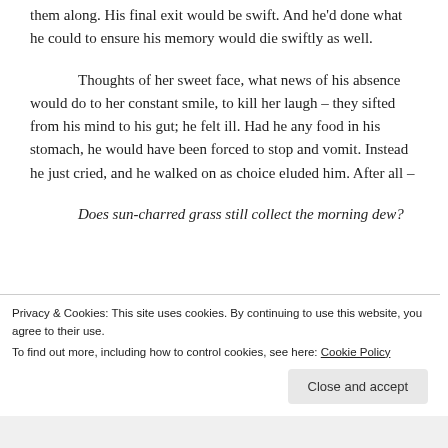them along. His final exit would be swift. And he'd done what he could to ensure his memory would die swiftly as well.
Thoughts of her sweet face, what news of his absence would do to her constant smile, to kill her laugh – they sifted from his mind to his gut; he felt ill. Had he any food in his stomach, he would have been forced to stop and vomit. Instead he just cried, and he walked on as choice eluded him. After all –
Does sun-charred grass still collect the morning dew?
************************************************************
Privacy & Cookies: This site uses cookies. By continuing to use this website, you agree to their use.
To find out more, including how to control cookies, see here: Cookie Policy
Close and accept